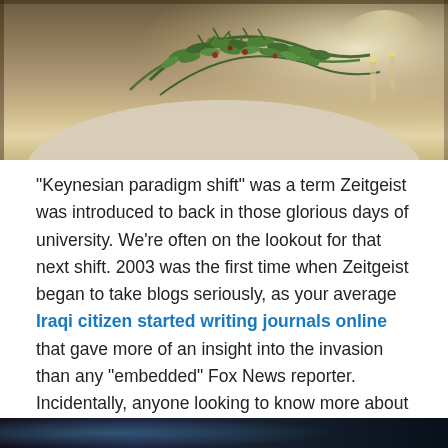[Figure (photo): Photo of a dining table with green leafy centerpiece arrangements, white tablecloth visible, warm lighting in background]
“Keynesian paradigm shift” was a term Zeitgeist was introduced to back in those glorious days of university. We’re often on the lookout for that next shift. 2003 was the first time when Zeitgeist began to take blogs seriously, as your average Iraqi citizen started writing journals online that gave more of an insight into the invasion than any “embedded” Fox News reporter. Incidentally, anyone looking to know more about the way news was covered by those reporters under the care of the US military at the time should check out the fascinating documentary “Control Room”.
[Figure (photo): Dark photograph, partially visible at bottom of page]